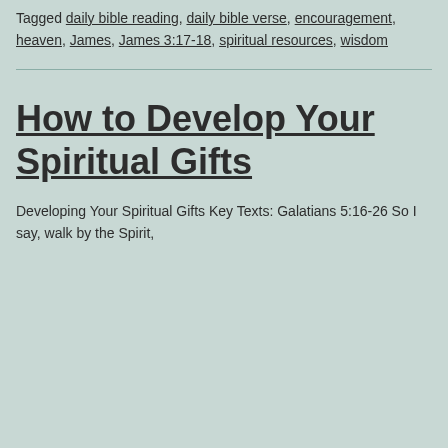Tagged daily bible reading, daily bible verse, encouragement, heaven, James, James 3:17-18, spiritual resources, wisdom
How to Develop Your Spiritual Gifts
Developing Your Spiritual Gifts Key Texts: Galatians 5:16-26 So I say, walk by the Spirit,